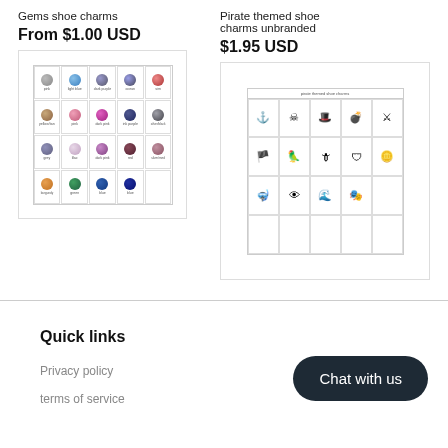Gems shoe charms
From $1.00 USD
[Figure (photo): Grid of gem-style shoe charms showing various colored gems in a table layout]
Pirate themed shoe charms unbranded
$1.95 USD
[Figure (photo): Grid of pirate themed shoe charms showing various pirate icons in a table layout]
Quick links
Privacy policy
terms of service